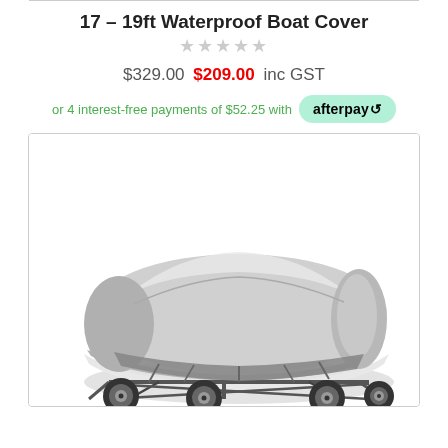17 – 19ft Waterproof Boat Cover
★★★★★ (empty stars / no rating)
$329.00 $209.00 inc GST
or 4 interest-free payments of $52.25 with afterpay
[Figure (photo): A grey waterproof boat cover fitted over a boat on a trailer, shown against a white background.]